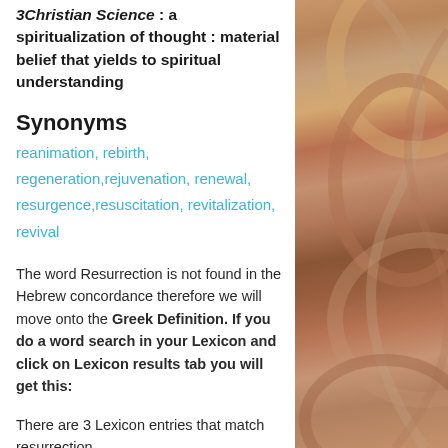3Christian Science : a spiritualization of thought : material belief that yields to spiritual understanding
Synonyms
reanimation, rebirth, regeneration, rejuvenation, renewal, resurgence, resuscitation, revitalization, revival
The word Resurrection is not found in the Hebrew concordance therefore we will move onto the Greek Definition. If you do a word search in your Lexicon and click on Lexicon results tab you will get this:
There are 3 Lexicon entries that match resurrection.
[Figure (photo): Decorative image on the right side of the page showing warm-toned abstract swirling shapes in brown, tan, and copper colors]